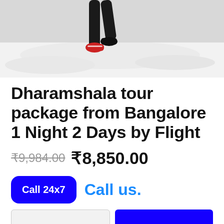[Figure (photo): Person walking in snow, cropped to lower legs and feet with red shoes/boots visible against white snowy ground]
Dharamshala tour package from Bangalore 1 Night 2 Days by Flight
₹9,984.00 ₹8,850.00
Call 24x7  Call us.